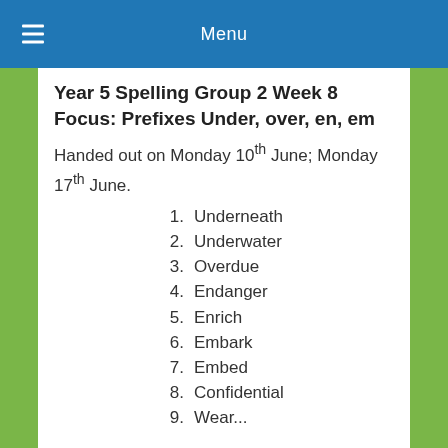Menu
Year 5 Spelling Group 2 Week 8 Focus: Prefixes Under, over, en, em
Handed out on Monday 10th June; Monday 17th June.
1. Underneath
2. Underwater
3. Overdue
4. Endanger
5. Enrich
6. Embark
7. Embed
8. Confidential
9. Wear...